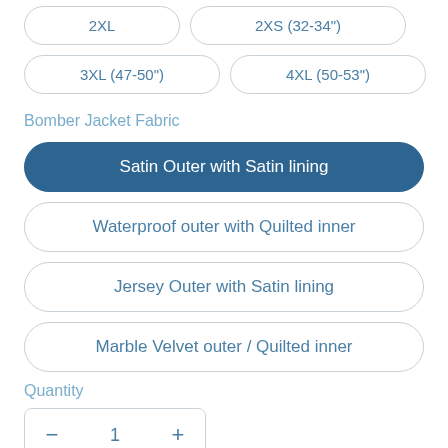2XL, 2XS (32-34")
3XL (47-50")
4XL (50-53")
Bomber Jacket Fabric
Satin Outer with Satin lining
Waterproof outer with Quilted inner
Jersey Outer with Satin lining
Marble Velvet outer / Quilted inner
Quantity
— 1 +